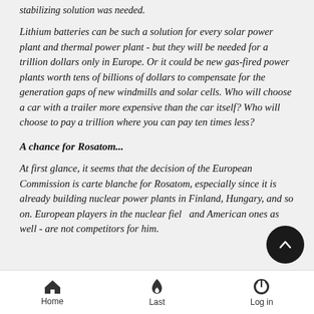stabilizing solution was needed.
Lithium batteries can be such a solution for every solar power plant and thermal power plant - but they will be needed for a trillion dollars only in Europe. Or it could be new gas-fired power plants worth tens of billions of dollars to compensate for the generation gaps of new windmills and solar cells. Who will choose a car with a trailer more expensive than the car itself? Who will choose to pay a trillion where you can pay ten times less?
A chance for Rosatom...
At first glance, it seems that the decision of the European Commission is carte blanche for Rosatom, especially since it is already building nuclear power plants in Finland, Hungary, and so on. European players in the nuclear field and American ones as well - are not competitors for him. The United States and so on...
Home   Last   Log in